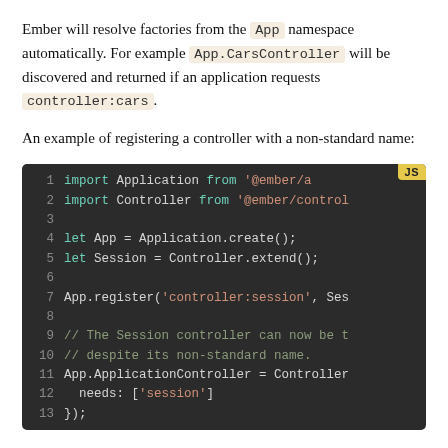Ember will resolve factories from the App namespace automatically. For example App.CarsController will be discovered and returned if an application requests controller:cars.
An example of registering a controller with a non-standard name:
[Figure (screenshot): Code block with dark background showing JavaScript code. Lines 1-13: import Application from '@ember/a..., import Controller from '@ember/control..., (blank), let App = Application.create();, let Session = Controller.extend();, (blank), App.register('controller:session', Ses..., (blank), // The Session controller can now be t..., // despite its non-standard name., App.ApplicationController = Controller..., needs: ['session'], });]